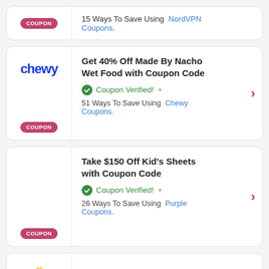15 Ways To Save Using NordVPN Coupons.
Get 40% Off Made By Nacho Wet Food with Coupon Code. Coupon Verified! 51 Ways To Save Using Chewy Coupons.
Take $150 Off Kid's Sheets with Coupon Code. Coupon Verified! 26 Ways To Save Using Purple Coupons.
Get 20% Off Cheesecake